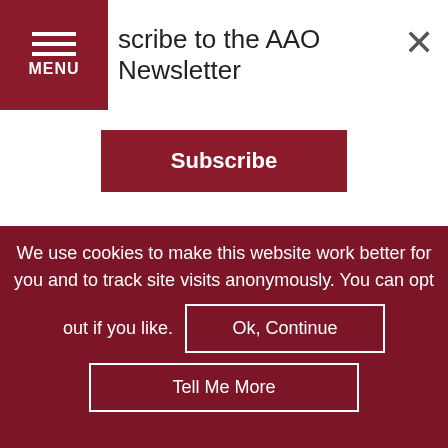MENU
scribe to the AAO Newsletter
Subscribe
|  | Yao, DO | abstract) |  |
| --- | --- | --- | --- |
| Resident—clinical research |  |  |  |
| First | Jessica B. Smith, | Lack of Knowledge | Good Samar |
We use cookies to make this website work better for you and to track site visits anonymously. You can opt out if you like.
Ok, Continue
Tell Me More